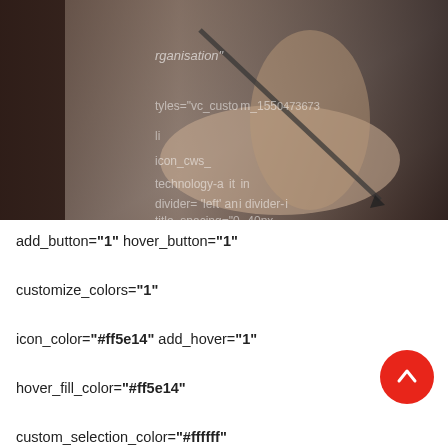[Figure (photo): Photo of a hand holding a pen/pencil writing on paper, with overlaid code/markup text in white. The image is partially cropped and has a dark reddish-brown tone.]
add_button="1" hover_button="1"
customize_colors="1"
icon_color="#ff5e14" add_hover="1"
hover_fill_color="#ff5e14"
custom_selection_color="#ffffff"
custom_f_color="#ffffff"
custom_icon_color="#ffffff"
custom_bg_color="rgba(255,255,255,0.01)"
simple_hover_button_color="#ffffff"
title="Conseil"